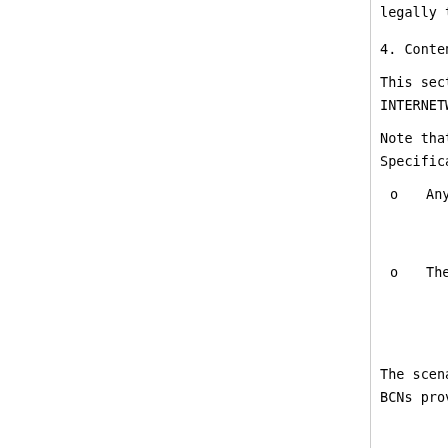legally terminated.
4.  Content Internetworking S
This section provides seve
INTERNETWORKING implementa
Note that we obviously can
Specifically, it should be
o   Any one of the intercon
    INTERNETWORKING arrange
    the relationships being
o   The graphical figures o
    It is assumed that a RE
    the CLIENT the IP addre
    honor the CLIENT's CONT
The scenarios described in
BCNs provide limited inter